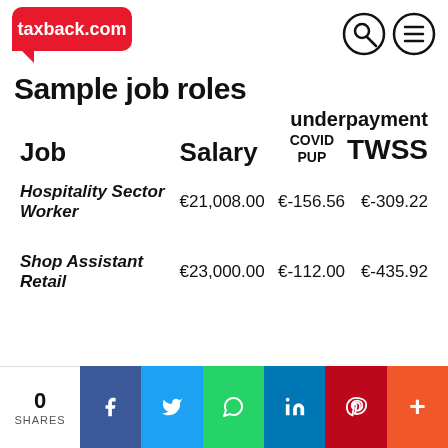[Figure (logo): taxback.com logo in red speech bubble]
Sample job roles
| Job | Salary | COVID PUP | TWSS |
| --- | --- | --- | --- |
| Hospitality Sector Worker | €21,008.00 | €-156.56 | €-309.22 |
| Shop Assistant Retail | €23,000.00 | €-112.00 | €-435.92 |
0 SHARES | Facebook | Twitter | WhatsApp | LinkedIn | Pinterest | More